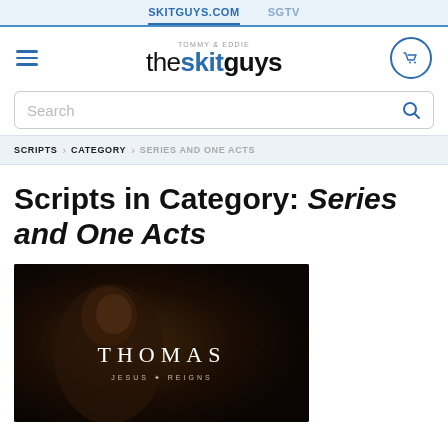SKITGUYS.COM  SGTV
[Figure (logo): The Skit Guys logo with 'TOMMY & EDDIE' above, hamburger menu icon on left, shopping cart icon on right]
Search
SCRIPTS > CATEGORY > SERIES AND ONE ACTS
Scripts in Category: Series and One Acts
[Figure (photo): Dark promotional image showing a person with text 'THOMAS' and 'JESUS REIGNS' overlay]